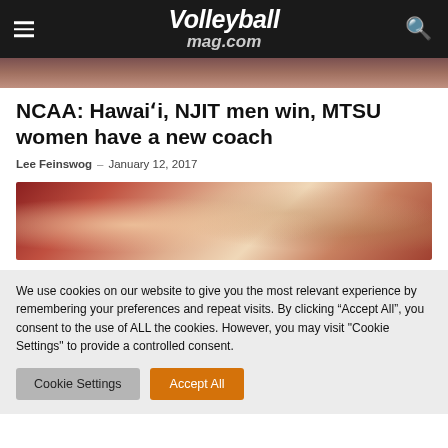Volleyballmag.com
[Figure (photo): Partial top strip of crowd photo from volleyball event]
NCAA: Hawaiʻi, NJIT men win, MTSU women have a new coach
Lee Feinswog – January 12, 2017
[Figure (photo): Crowd of spectators cheering at a volleyball event, women smiling in foreground]
We use cookies on our website to give you the most relevant experience by remembering your preferences and repeat visits. By clicking “Accept All”, you consent to the use of ALL the cookies. However, you may visit "Cookie Settings" to provide a controlled consent.
Cookie Settings | Accept All